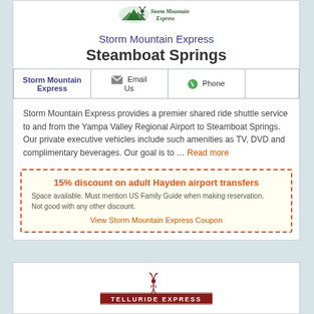[Figure (logo): Storm Mountain Express logo with green mountain/deer icon and text]
Storm Mountain Express
Steamboat Springs
| Storm Mountain Express | Email Us | Phone |  |
| --- | --- | --- | --- |
|  |
Storm Mountain Express provides a premier shared ride shuttle service to and from the Yampa Valley Regional Airport to Steamboat Springs. Our private executive vehicles include such amenities as TV, DVD and complimentary beverages. Our goal is to ... Read more
15% discount on adult Hayden airport transfers
Space available. Must mention US Family Guide when making reservation. Not good with any other discount.
View Storm Mountain Express Coupon
[Figure (logo): Telluride Express logo at bottom of page]